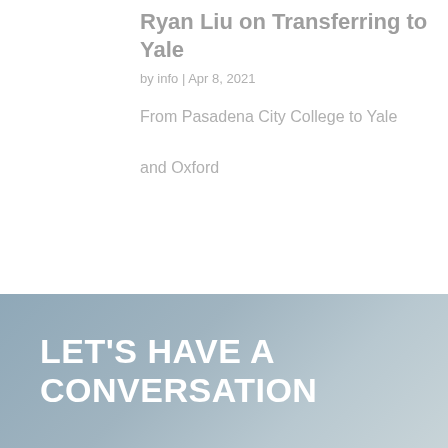Ryan Liu on Transferring to Yale
by info | Apr 8, 2021
From Pasadena City College to Yale and Oxford
LET'S HAVE A CONVERSATION